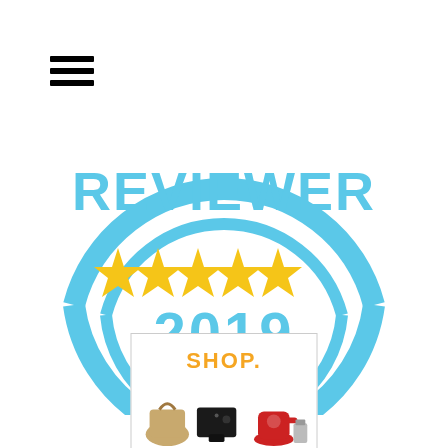[Figure (logo): Hamburger menu icon (three horizontal black lines)]
[Figure (logo): Reedsy 5-star reviewer badge 2019. Circular badge in sky blue with text 'REVIEWER', five gold stars, '2019', and 'BY REEDSY']
[Figure (illustration): Shop advertisement banner with orange 'SHOP.' text and product images including kitchen appliances and bags]